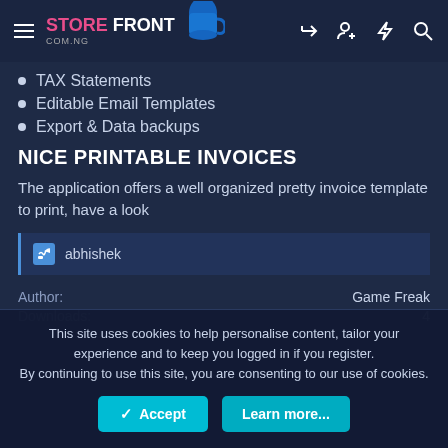STORE FRONT COM.NG
TAX Statements
Editable Email Templates
Export & Data backups
NICE PRINTABLE INVOICES
The application offers a well organized pretty invoice template to print, have a look
abhishek
Author: Game Freak
Downloads: 4
This site uses cookies to help personalise content, tailor your experience and to keep you logged in if you register. By continuing to use this site, you are consenting to our use of cookies.